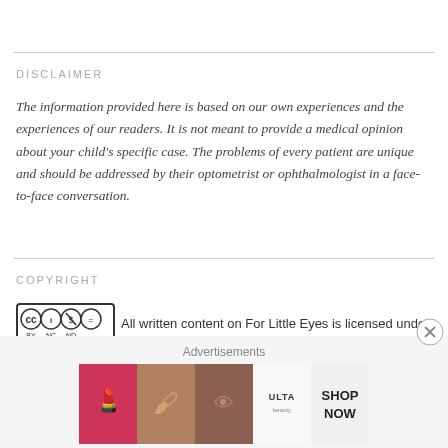DISCLAIMER
The information provided here is based on our own experiences and the experiences of our readers. It is not meant to provide a medical opinion about your child's specific case. The problems of every patient are unique and should be addressed by their optometrist or ophthalmologist in a face-to-face conversation.
COPYRIGHT
All written content on For Little Eyes is licensed under a Creative Commons Attribution-Noncommercial-No Derivative Works 3.0 United States License.
[Figure (other): Ulta beauty advertisement banner showing makeup-related images with SHOP NOW text]